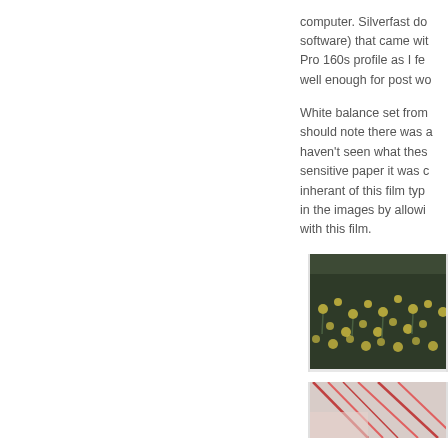computer. Silverfast do software) that came wit Pro 160s profile as I fe well enough for post wo
White balance set from should note there was a haven't seen what thes sensitive paper it was c inherant of this film typ in the images by allowi with this film.
[Figure (photo): Field of daffodils with yellow flowers and dark green foliage]
[Figure (photo): Partial view of a second photo, showing geometric shapes with red and pink lines]